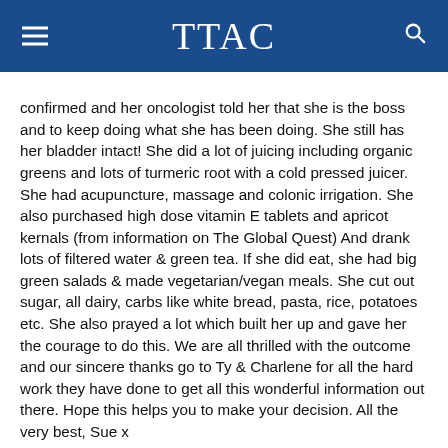TTAC
confirmed and her oncologist told her that she is the boss and to keep doing what she has been doing. She still has her bladder intact! She did a lot of juicing including organic greens and lots of turmeric root with a cold pressed juicer. She had acupuncture, massage and colonic irrigation. She also purchased high dose vitamin E tablets and apricot kernals (from information on The Global Quest) And drank lots of filtered water & green tea. If she did eat, she had big green salads & made vegetarian/vegan meals. She cut out sugar, all dairy, carbs like white bread, pasta, rice, potatoes etc. She also prayed a lot which built her up and gave her the courage to do this. We are all thrilled with the outcome and our sincere thanks go to Ty & Charlene for all the hard work they have done to get all this wonderful information out there. Hope this helps you to make your decision. All the very best, Sue x